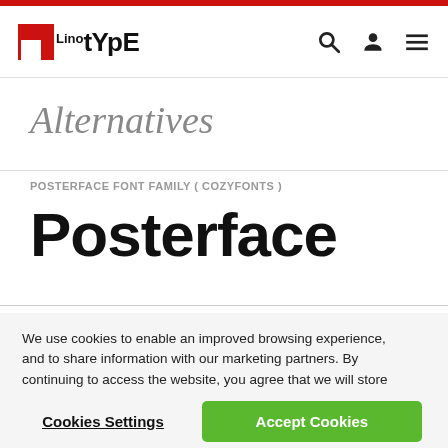LinoTYPE — navigation header with logo, search, account, and menu icons
Alternatives
POSTERFACE FONT FAMILY ( COZYFONTS )
Posterface
We use cookies to enable an improved browsing experience, and to share information with our marketing partners. By continuing to access the website, you agree that we will store data in a cookie as outlined in our Privacy Policy
Cookies Settings
Accept Cookies